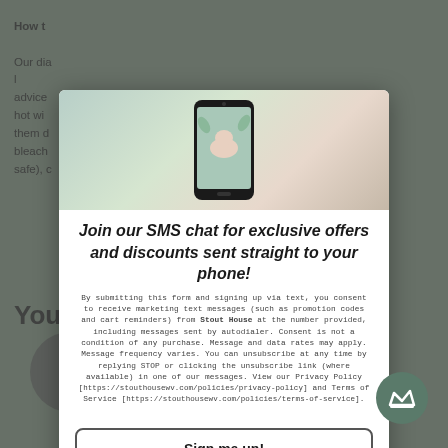How t...
Our dia... advice... wash hot wi... hang them d... bleach... safe), c...
You
[Figure (photo): Smartphone screen showing a baby, with leaves in background — modal header image]
Join our SMS chat for exclusive offers and discounts sent straight to your phone!
By submitting this form and signing up via text, you consent to receive marketing text messages (such as promotion codes and cart reminders) from Stout House at the number provided, including messages sent by autodialer. Consent is not a condition of any purchase. Message and data rates may apply. Message frequency varies. You can unsubscribe at any time by replying STOP or clicking the unsubscribe link (where available) in one of our messages. View our Privacy Policy [https://stouthousewv.com/policies/privacy-policy] and Terms of Service [https://stouthousewv.com/policies/terms-of-service].
Sign me up!